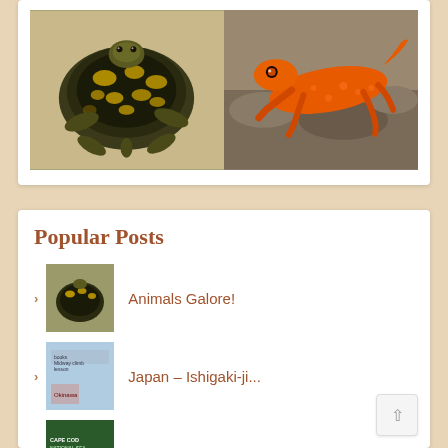[Figure (photo): Two photos side by side: left shows a box turtle with yellow-patterned shell viewed from above; right shows a bright orange red eft (Eastern newt juvenile) on rocky ground.]
Popular Posts
Animals Galore!
Japan – Ishigaki-ji...
Trying to Cope in Cape Co...
Morocco – Ifrane an...